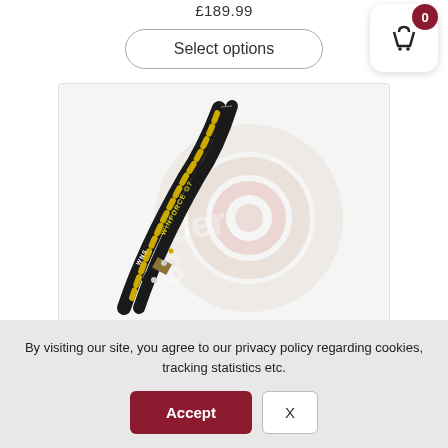£189.99
[Figure (screenshot): Shopping cart icon button with badge showing 0 items, top right corner]
Select options
[Figure (photo): Black archery bow limbs (WNS brand, Winforce G7) with yellow/gold text markings, curved against a white background with a faint archery target watermark]
By visiting our site, you agree to our privacy policy regarding cookies, tracking statistics etc.
Accept
X